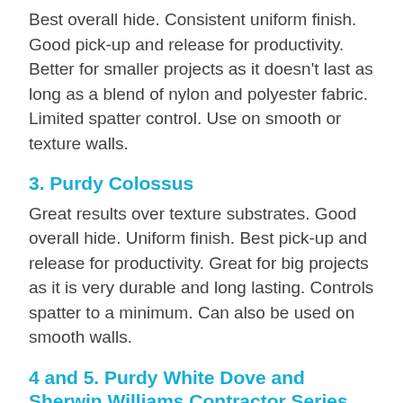Best overall hide. Consistent uniform finish. Good pick-up and release for productivity. Better for smaller projects as it doesn't last as long as a blend of nylon and polyester fabric. Limited spatter control. Use on smooth or texture walls.
3. Purdy Colossus
Great results over texture substrates. Good overall hide. Uniform finish. Best pick-up and release for productivity. Great for big projects as it is very durable and long lasting. Controls spatter to a minimum. Can also be used on smooth walls.
4 and 5. Purdy White Dove and Sherwin Williams Contractor Series Soft Woven-1/2 inch nap
Good overall hide. Smooth and uniform finish. Good pick-up and release for productivity. Controls spatter to a minimum. Use on smooth